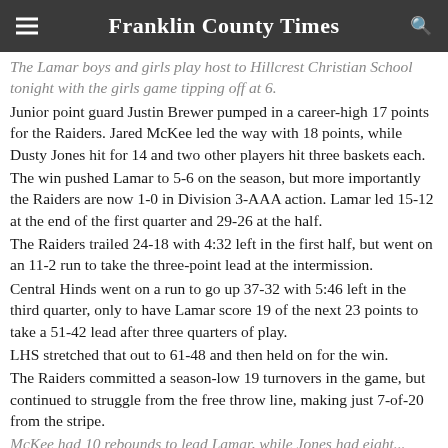Franklin County Times
The Lamar boys and girls play host to Hillcrest Christian School tonight with the girls game tipping off at 6.
Junior point guard Justin Brewer pumped in a career-high 17 points for the Raiders. Jared McKee led the way with 18 points, while Dusty Jones hit for 14 and two other players hit three baskets each.
The win pushed Lamar to 5-6 on the season, but more importantly the Raiders are now 1-0 in Division 3-AAA action. Lamar led 15-12 at the end of the first quarter and 29-26 at the half.
The Raiders trailed 24-18 with 4:32 left in the first half, but went on an 11-2 run to take the three-point lead at the intermission.
Central Hinds went on a run to go up 37-32 with 5:46 left in the third quarter, only to have Lamar score 19 of the next 23 points to take a 51-42 lead after three quarters of play.
LHS stretched that out to 61-48 and then held on for the win.
The Raiders committed a season-low 19 turnovers in the game, but continued to struggle from the free throw line, making just 7-of-20 from the stripe.
McKee had 10 rebounds to lead Lamar, while Jones had eight...